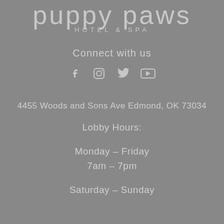[Figure (logo): Puppy Paws Hotel & Spa logo with large light gray text on gray background]
Connect with us
[Figure (infographic): Social media icons: Facebook, Instagram, Twitter, YouTube]
4455 Woods and Sons Ave Edmond, OK 73034
Lobby Hours:
Monday – Friday
7am – 7pm
Saturday – Sunday